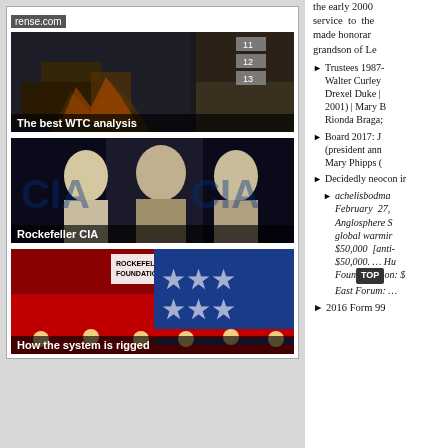[Figure (screenshot): Left column showing rense.com video thumbnails: 'The best WTC analysis', 'Rockefeller CIA', 'How the system is rigged']
the early 2000... service to the... made honorar... grandson of Le...
Trustees 1987-... Walter Curley... Drexel Duke |... 2001) | Mary B... Rionda Braga;...
Board 2017: J... (president ann... Mary Phipps (...
Decidedly neocon ir...
achelisbodma... February 27,... Anglosphere S... global warmir... $50,000 [anti-... $50,000. ... Hu... Foundation: $... East Forum: ...
2016 Form 99...